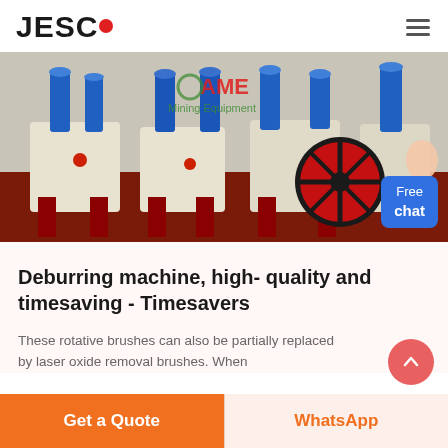JESCO
[Figure (photo): Industrial deburring machines with blue cylinders, red wheels, and cream-colored bodies in a factory setting. AME Mining Equipment branding visible in background. A 'Free chat' button with a chat assistant icon overlay in bottom right.]
Deburring machine, high- quality and timesaving - Timesavers
These rotative brushes can also be partially replaced by laser oxide removal brushes. When